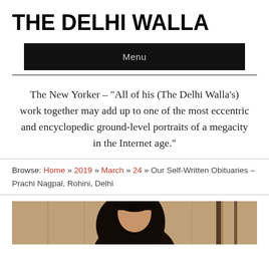THE DELHI WALLA
Menu
The New Yorker – “All of his (The Delhi Walla’s) work together may add up to one of the most eccentric and encyclopedic ground-level portraits of a megacity in the Internet age.”
Browse: Home » 2019 » March » 24 » Our Self-Written Obituaries – Prachi Nagpal, Rohini, Delhi
[Figure (photo): Partial photo of a woman with dark hair, partially visible at the bottom of the page, in front of a wooden background]